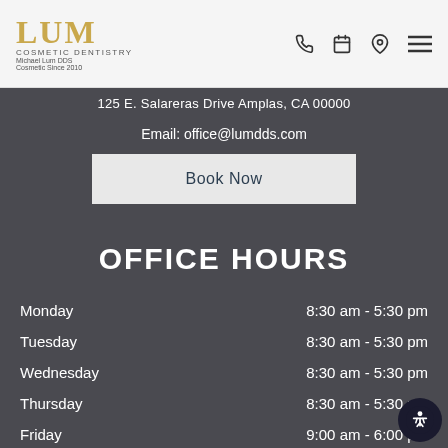[Figure (logo): LUM Cosmetic Dentistry logo with golden LUM text and subtitle]
125 E. Salareras Drive Amplas, CA 00000
Email: office@lumdds.com
Book Now
OFFICE HOURS
Monday    8:30 am - 5:30 pm
Tuesday    8:30 am - 5:30 pm
Wednesday    8:30 am - 5:30 pm
Thursday    8:30 am - 5:30 pm
Friday    9:00 am - 6:00 pm
Saturday    9:00 am - 3:00 pm